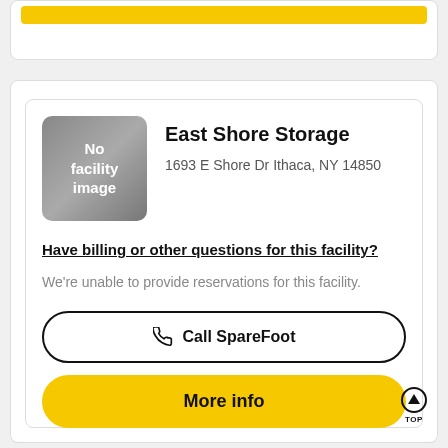[Figure (screenshot): Partial card at top with yellow button visible]
East Shore Storage
1693 E Shore Dr Ithaca, NY 14850
Have billing or other questions for this facility?
We're unable to provide reservations for this facility.
Call SpareFoot
More info